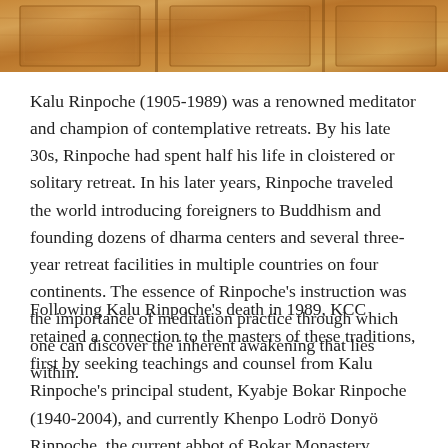[Figure (photo): Cropped photo showing wooden cabinet or furniture with warm brown tones, visible at the top of the page.]
Kalu Rinpoche (1905-1989) was a renowned meditator and champion of contemplative retreats. By his late 30s, Rinpoche had spent half his life in cloistered or solitary retreat. In his later years, Rinpoche traveled the world introducing foreigners to Buddhism and founding dozens of dharma centers and several three-year retreat facilities in multiple countries on four continents. The essence of Rinpoche’s instruction was the importance of meditation practice through which one can discover the inherent awakening that lies within.
Following Kalu Rinpoche’s death in 1989, KCC retained a connection to the masters of these traditions, first by seeking teachings and counsel from Kalu Rinpoche’s principal student, Kyabje Bokar Rinpoche (1940-2004), and currently Khenpo Lodrö Donyö Rinpoche, the current abbot of Bokar Monastery.